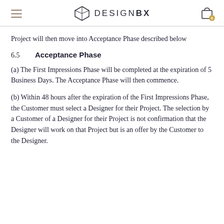DESIGNBX
Project will then move into Acceptance Phase described below
6.5    Acceptance Phase
(a) The First Impressions Phase will be completed at the expiration of 5 Business Days. The Acceptance Phase will then commence.
(b) Within 48 hours after the expiration of the First Impressions Phase, the Customer must select a Designer for their Project. The selection by a Customer of a Designer for their Project is not confirmation that the Designer will work on that Project but is an offer by the Customer to the Designer.